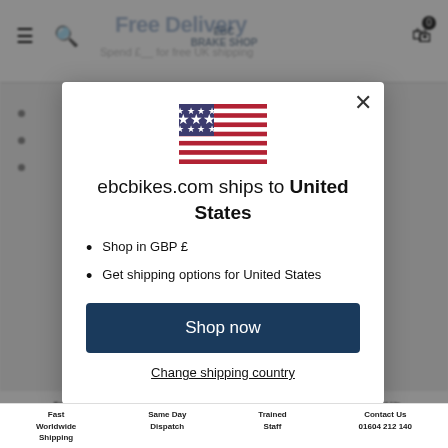[Figure (screenshot): EBC Brake Shop website background showing navigation bar with hamburger menu, search icon, EBC logo with UK flag, shopping cart with 0 items, and footer with Fast Worldwide Shipping, Same Day Dispatch, Trained Staff, Contact Us 01604 212 140]
[Figure (illustration): US flag emoji / illustration shown in the modal dialog]
ebcbikes.com ships to United States
Shop in GBP £
Get shipping options for United States
Shop now
Change shipping country